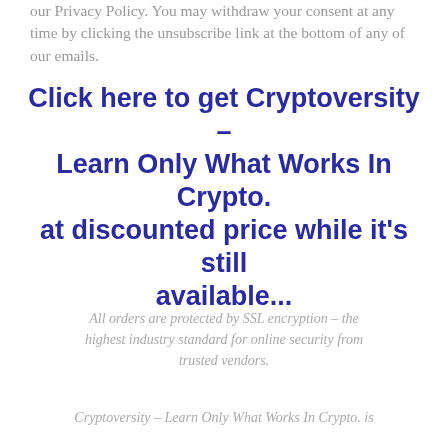our Privacy Policy. You may withdraw your consent at any time by clicking the unsubscribe link at the bottom of any of our emails.
Click here to get Cryptoversity – Learn Only What Works In Crypto. at discounted price while it's still available...
All orders are protected by SSL encryption – the highest industry standard for online security from trusted vendors.
Cryptoversity – Learn Only What Works In Crypto. is